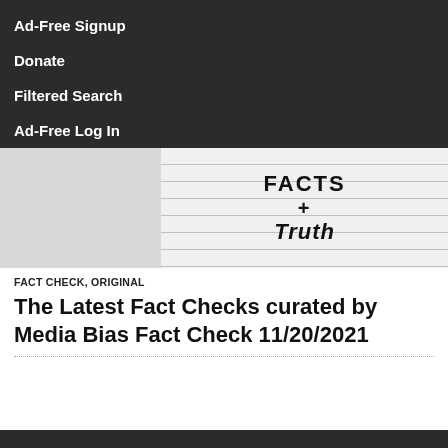Ad-Free Signup
Donate
Filtered Search
Ad-Free Log In
[Figure (photo): Handwritten text on lined paper reading 'FACTS + Truth']
FACT CHECK, ORIGINAL
The Latest Fact Checks curated by Media Bias Fact Check 11/20/2021